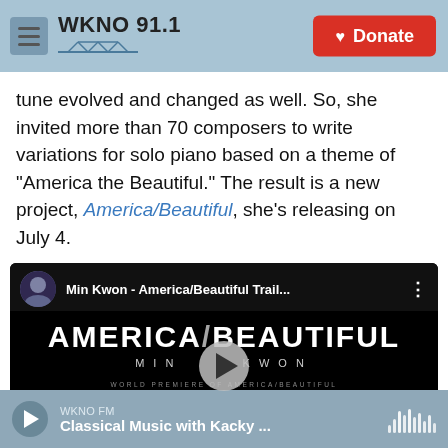WKNO 91.1 | Donate
tune evolved and changed as well. So, she invited more than 70 composers to write variations for solo piano based on a theme of "America the Beautiful." The result is a new project, America/Beautiful, she's releasing on July 4.
[Figure (screenshot): YouTube video embed showing Min Kwon - America/Beautiful Trail... video with play button overlay. Title card shows 'AMERICA/BEAUTIFUL' in large bold white text, 'MIN KWON' below, and small text: 'WORLD PREMIERE OF AMERICA/BEAUTIFUL VARIATIONS ON AMERICA THE BEAUTIFUL BY MORE THAN 70 OF TODAY'S LEADING AMERICAN COMPOSERS']
WKNO FM | Classical Music with Kacky ...